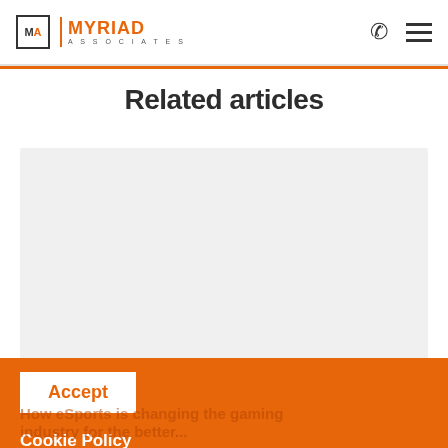MA | MYRIAD ASSOCIATES
Related articles
[Figure (other): Gray placeholder image card for a related article]
Accept
Cookie Policy
We use cookies to improve your online experience and the service we offer. To accept cookies continue browsing as normal. Read our cookies policy for more information.
How eSports is changing the gaming industry for the better...